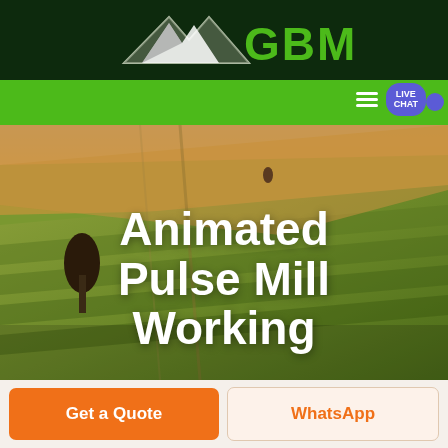[Figure (logo): GBM company logo with green mountain/arrow graphic and green GBM text on dark green header bar]
[Figure (photo): Aerial view of agricultural fields with green and golden-brown striped crop land, with a lone tree on the left side and warm sunlight]
Animated Pulse Mill Working
Get a Quote
WhatsApp